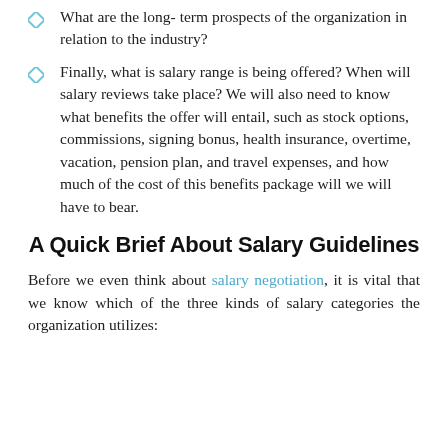What are the long- term prospects of the organization in relation to the industry?
Finally, what is salary range is being offered? When will salary reviews take place? We will also need to know what benefits the offer will entail, such as stock options, commissions, signing bonus, health insurance, overtime, vacation, pension plan, and travel expenses, and how much of the cost of this benefits package will we will have to bear.
A Quick Brief About Salary Guidelines
Before we even think about salary negotiation, it is vital that we know which of the three kinds of salary categories the organization utilizes: